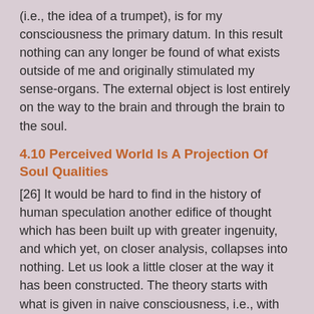(i.e., the idea of a trumpet), is for my consciousness the primary datum. In this result nothing can any longer be found of what exists outside of me and originally stimulated my sense-organs. The external object is lost entirely on the way to the brain and through the brain to the soul.
4.10 Perceived World Is A Projection Of Soul Qualities
[26] It would be hard to find in the history of human speculation another edifice of thought which has been built up with greater ingenuity, and which yet, on closer analysis, collapses into nothing. Let us look a little closer at the way it has been constructed. The theory starts with what is given in naive consciousness, i.e., with things as perceived. It proceeds to show that none of the qualities which we find in these things would exist for us, had we no sense-organs. No eye — no colour. Therefore, the colour is not, as yet, present in the stimulus which affects the eye. It arises first through the interaction of the eye and the object. The latter is, therefore, colourless. But neither is the colour